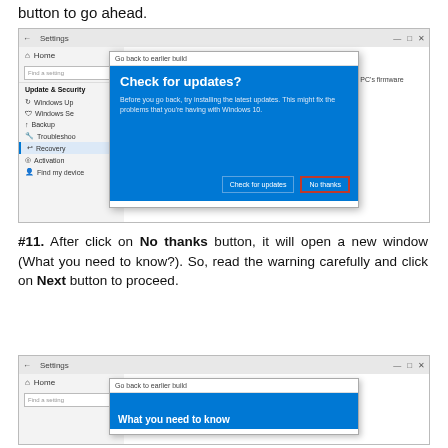button to go ahead.
[Figure (screenshot): Windows 10 Settings screenshot showing Recovery page with a dialog box titled 'Go back to earlier build'. The dialog has a blue background with title 'Check for updates?' and text 'Before you go back, try installing the latest updates. This might fix the problems that you're having with Windows 10.' Two buttons at bottom: 'Check for updates' and 'No thanks' (highlighted with red border).]
#11. After click on No thanks button, it will open a new window (What you need to know?). So, read the warning carefully and click on Next button to proceed.
[Figure (screenshot): Windows 10 Settings screenshot showing beginning of second dialog box titled 'Go back to earlier build' with blue area showing 'What you need to know' title emerging.]